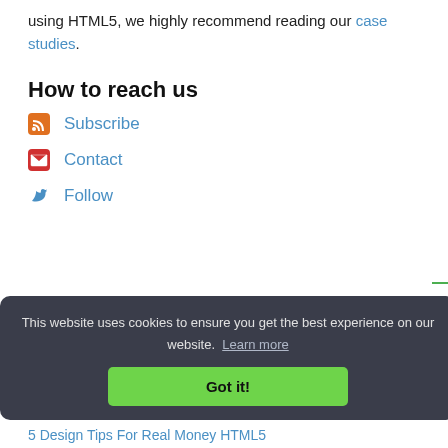using HTML5, we highly recommend reading our case studies.
How to reach us
Subscribe
Contact
Follow
This website uses cookies to ensure you get the best experience on our website. Learn more
Got it!
5 Design Tips For Real Money HTML5